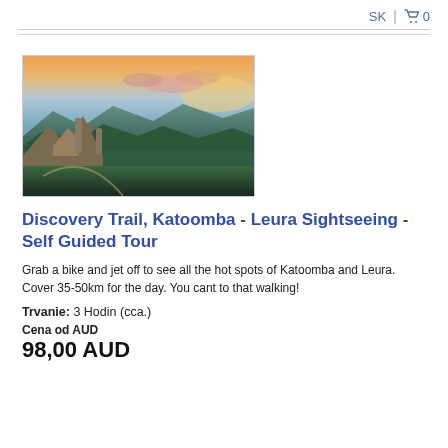SK  🛒 0
[Figure (photo): Landscape photo of Three Sisters rock formation at Katoomba in the Blue Mountains, Australia, at sunset with orange sky and mountain ranges in the background]
Discovery Trail, Katoomba - Leura Sightseeing - Self Guided Tour
Grab a bike and jet off to see all the hot spots of Katoomba and Leura. Cover 35-50km for the day. You cant to that walking!
Trvanie: 3 Hodin (cca.)
Cena od AUD
98,00 AUD